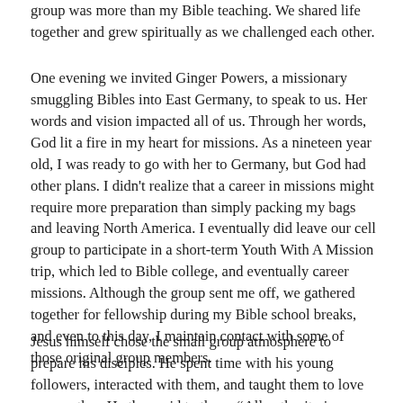group was more than my Bible teaching. We shared life together and grew spiritually as we challenged each other.
One evening we invited Ginger Powers, a missionary smuggling Bibles into East Germany, to speak to us. Her words and vision impacted all of us. Through her words, God lit a fire in my heart for missions. As a nineteen year old, I was ready to go with her to Germany, but God had other plans. I didn't realize that a career in missions might require more preparation than simply packing my bags and leaving North America. I eventually did leave our cell group to participate in a short-term Youth With A Mission trip, which led to Bible college, and eventually career missions. Although the group sent me off, we gathered together for fellowship during my Bible school breaks, and even to this day, I maintain contact with some of those original group members.
Jesus himself chose the small group atmosphere to prepare his disciples. He spent time with his young followers, interacted with them, and taught them to love one another. He then said to them, “All authority in heaven and on earth has been given to